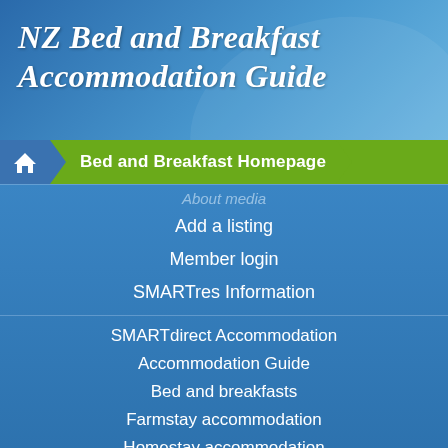NZ Bed and Breakfast Accommodation Guide
Bed and Breakfast Homepage
About media
Add a listing
Member login
SMARTres Information
SMARTdirect Accommodation
Accommodation Guide
Bed and breakfasts
Farmstay accommodation
Homestay accommodation
Self-catering accommodation
Luxury accommodation
Holiday Homes
Hotels and Motels
Horse Trekking